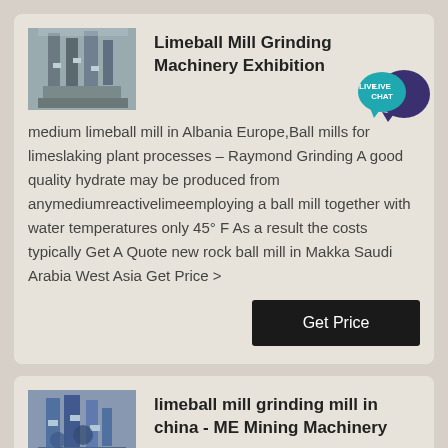[Figure (photo): Industrial grinding machinery / mill plant exterior]
Limeball Mill Grinding Machinery Exhibition
[Figure (infographic): Live Chat speech bubble icon in teal and dark blue]
medium limeball mill in Albania Europe,Ball mills for limeslaking plant processes – Raymond Grinding A good quality hydrate may be produced from anymediumreactivelimeemploying a ball mill together with water temperatures only 45° F As a result the costs typically Get A Quote new rock ball mill in Makka Saudi Arabia West Asia Get Price >
Get Price
[Figure (photo): Industrial grinding mill machinery with industrial equipment]
limeball mill grinding mill in china - ME Mining Machinery
limeball mill in limestonell in china China Lime Ball Mill...